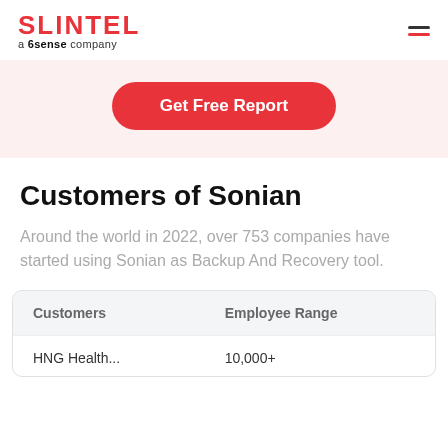SLINTEL a 6sense company
[Figure (other): Get Free Report button on pink/light red background]
Customers of Sonian
Around the world in 2022, over 753 companies have started using Sonian as Backup And Recovery tool.
| Customers | Employee Range |
| --- | --- |
| HNG Health... | 10,000+ |